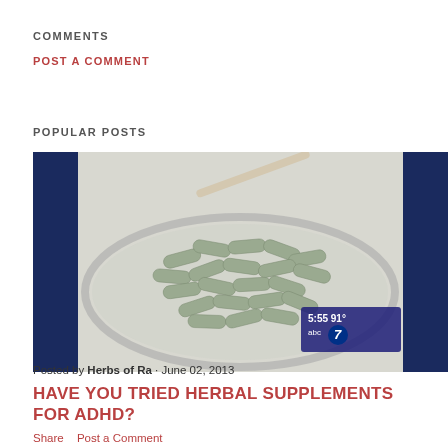COMMENTS
POST A COMMENT
POPULAR POSTS
[Figure (photo): TV news screenshot showing herbal supplement capsules in a glass petri dish, with ABC7 news overlay showing time 5:55 and temperature 91°F]
Posted by Herbs of Ra · June 02, 2013
HAVE YOU TRIED HERBAL SUPPLEMENTS FOR ADHD?
Share   Post a Comment